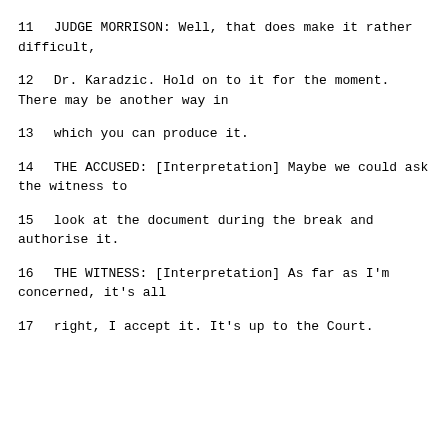11    JUDGE MORRISON:  Well, that does make it rather difficult,
12    Dr. Karadzic.  Hold on to it for the moment. There may be another way in
13    which you can produce it.
14    THE ACCUSED: [Interpretation] Maybe we could ask the witness to
15    look at the document during the break and authorise it.
16    THE WITNESS: [Interpretation] As far as I'm concerned, it's all
17    right, I accept it.  It's up to the Court.